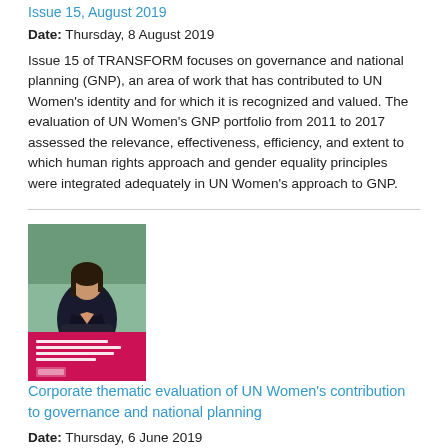Issue 15, August 2019
Date: Thursday, 8 August 2019
Issue 15 of TRANSFORM focuses on governance and national planning (GNP), an area of work that has contributed to UN Women's identity and for which it is recognized and valued. The evaluation of UN Women's GNP portfolio from 2011 to 2017 assessed the relevance, effectiveness, efficiency, and extent to which human rights approach and gender equality principles were integrated adequately in UN Women's approach to GNP.
[Figure (photo): Book cover showing a woman in a black blazer with arms crossed, standing outdoors. The cover has a red/magenta lower section with text about UN Women's corporate thematic evaluation, and the UN Women logo.]
Corporate thematic evaluation of UN Women's contribution to governance and national planning
Date: Thursday, 6 June 2019
Governance and national planning (GNP) is an area of work that has contributed to UN Women's identity and for which it is recognized and valued. The evaluation of UN Women's GNP...